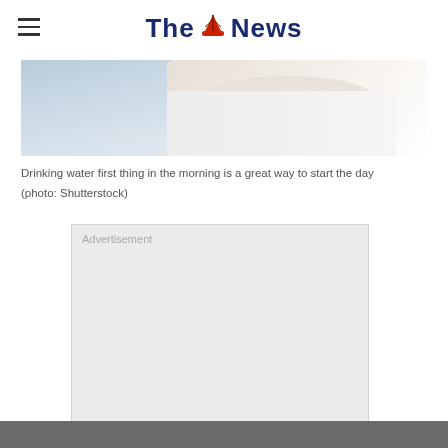The News
[Figure (photo): Photograph of a person in a white shirt, appearing to be drinking water, cropped to show upper body/torso area with light blue-grey background]
Drinking water first thing in the morning is a great way to start the day (photo: Shutterstock)
[Figure (other): Advertisement placeholder box with grey background and 'Advertisement' label text]